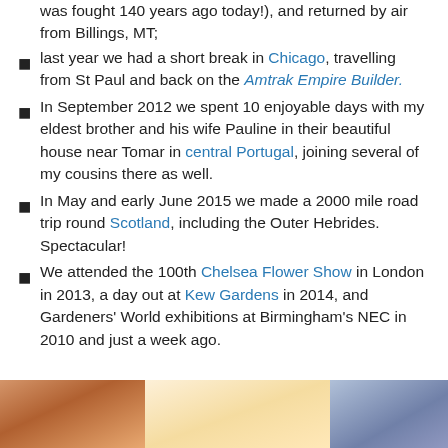was fought 140 years ago today!), and returned by air from Billings, MT;
last year we had a short break in Chicago, travelling from St Paul and back on the Amtrak Empire Builder.
In September 2012 we spent 10 enjoyable days with my eldest brother and his wife Pauline in their beautiful house near Tomar in central Portugal, joining several of my cousins there as well.
In May and early June 2015 we made a 2000 mile road trip round Scotland, including the Outer Hebrides. Spectacular!
We attended the 100th Chelsea Flower Show in London in 2013, a day out at Kew Gardens in 2014, and Gardeners' World exhibitions at Birmingham's NEC in 2010 and just a week ago.
[Figure (photo): Bottom strip showing a partial photo of what appears to be flowers or garden scene]